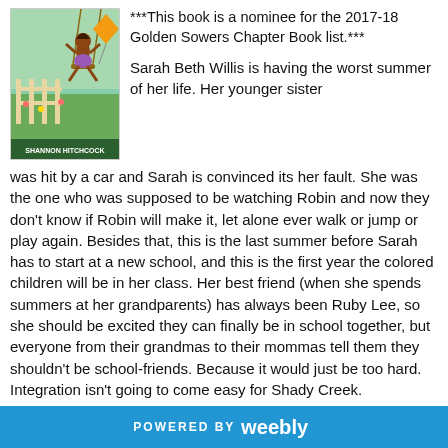[Figure (illustration): Book cover illustration showing a child on a swing with colorful artwork, author name Shannon Hitchcock at bottom]
***This book is a nominee for the 2017-18 Golden Sowers Chapter Book list.***
Sarah Beth Willis is having the worst summer of her life. Her younger sister was hit by a car and Sarah is convinced its her fault. She was the one who was supposed to be watching Robin and now they don't know if Robin will make it, let alone ever walk or jump or play again. Besides that, this is the last summer before Sarah has to start at a new school, and this is the first year the colored children will be in her class. Her best friend (when she spends summers at her grandparents) has always been Ruby Lee, so she should be excited they can finally be in school together, but everyone from their grandmas to their mommas tell them they shouldn't be school-friends. Because it would just be too hard. Integration isn't going to come easy for Shady Creek.
Through all of this Sarah Beth has to finally learn what it means to grow up and make decisions based on what is
POWERED BY weebly